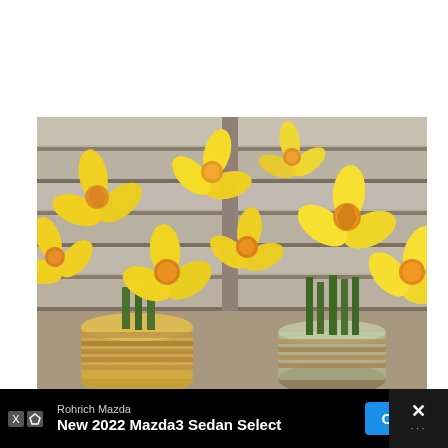[Figure (photo): Photograph of yellow daffodil flowers arranged in mason jars wrapped with twine/rope, placed in front of a rustic whitewashed wooden shutter or fence background. Two visible jars: one painted yellow on the left, one clear showing green stems on the right.]
Rohrich Mazda
New 2022 Mazda3 Sedan Select
OPEN